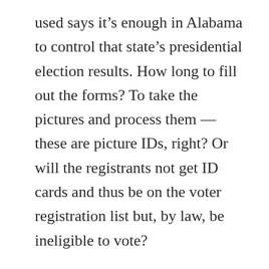used says it's enough in Alabama to control that state's presidential election results. How long to fill out the forms? To take the pictures and process them — these are picture IDs, right? Or will the registrants not get ID cards and thus be on the voter registration list but, by law, be ineligible to vote?